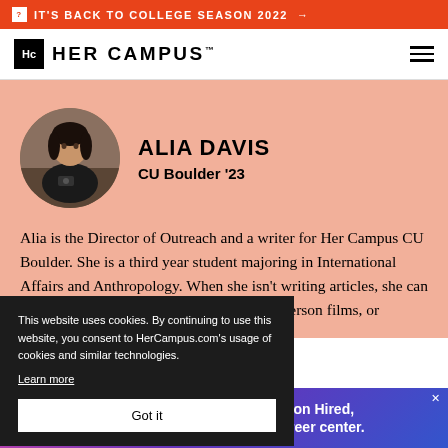IT'S BACK TO COLLEGE SEASON 2022 →
[Figure (logo): Her Campus logo with Hc monogram box and stylized text]
ALIA DAVIS
CU Boulder '23
[Figure (photo): Circular profile photo of Alia Davis wearing dark clothing outdoors]
Alia is the Director of Outreach and a writer for Her Campus CU Boulder. She is a third year student majoring in International Affairs and Anthropology. When she isn't writing articles, she can [be found watching] Wes Anderson films, or
This website uses cookies. By continuing to use this website, you consent to HerCampus.com's usage of cookies and similar technologies. Learn more
Got it
[Figure (infographic): Generation Hired advertisement banner: Join Generation Hired, your virtual career center.]